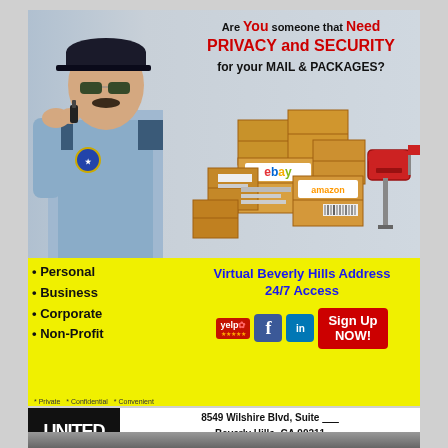[Figure (infographic): Advertisement for United Business & Office Solutions. Shows a security guard, packages with eBay and Amazon logos, and a red mailbox. Yellow background with headline about privacy and security for mail and packages.]
Are You someone that Need PRIVACY and SECURITY for your MAIL & PACKAGES?
Personal
Business
Corporate
Non-Profit
Virtual Beverly Hills Address 24/7 Access
Sign Up NOW!
* Private  * Confidential  * Convenient
8549 Wilshire Blvd, Suite _____ Beverly Hills, CA 90211 Visit us Online @ www.bhumb.com or Call us at 310.652.7522
[Figure (logo): United Business & Office Solutions logo in black box with pink/magenta circle below]